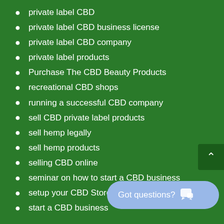private label CBD
private label CBD business license
private label CBD company
private label products
Purchase The CBD Beauty Products
recreational CBD shops
running a successful CBD company
sell CBD private label products
sell hemp legally
sell hemp products
selling CBD online
seminar on how to start a CBD business
setup your CBD Store
start a CBD business